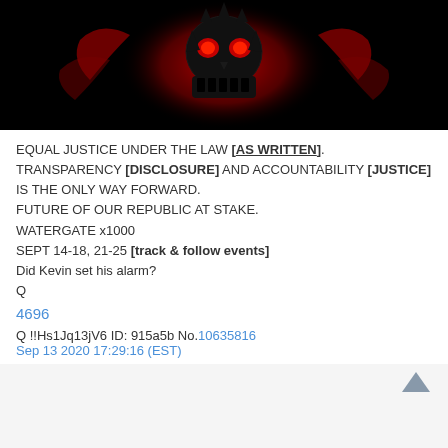[Figure (illustration): Dark background with a red-glowing Punisher skull logo, black stylized skull with red eye sockets and red smoke/glow effect around it.]
EQUAL JUSTICE UNDER THE LAW [AS WRITTEN]. TRANSPARENCY [DISCLOSURE] AND ACCOUNTABILITY [JUSTICE] IS THE ONLY WAY FORWARD.
FUTURE OF OUR REPUBLIC AT STAKE.
WATERGATE x1000
SEPT 14-18, 21-25 [track & follow events]
Did Kevin set his alarm?
Q
4696
Q !!Hs1Jq13jV6 ID: 915a5b No.10635816
Sep 13 2020 17:29:16 (EST)